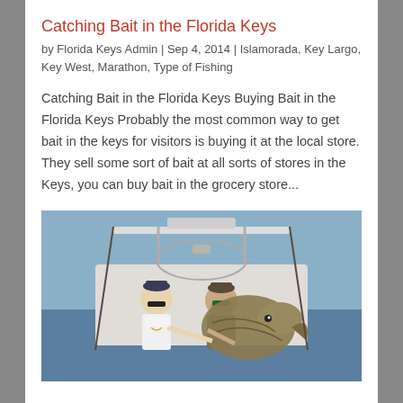Catching Bait in the Florida Keys
by Florida Keys Admin | Sep 4, 2014 | Islamorada, Key Largo, Key West, Marathon, Type of Fishing
Catching Bait in the Florida Keys Buying Bait in the Florida Keys Probably the most common way to get bait in the keys for visitors is buying it at the local store. They sell some sort of bait at all sorts of stores in the Keys, you can buy bait in the grocery store...
[Figure (photo): Two men on a fishing boat holding a large grouper fish, with fishing rods visible and open water in the background]